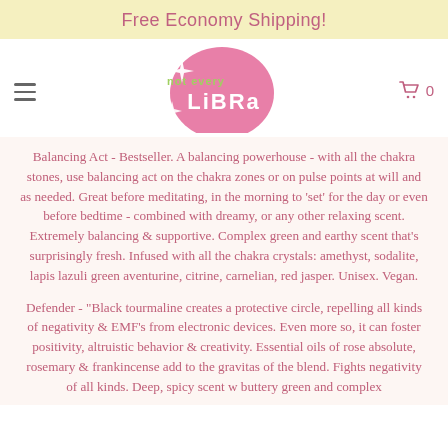Free Economy Shipping!
[Figure (logo): Not Every Libra logo - pink circle with sparkle star shapes and stylized text 'not every Libra' in green and white]
Balancing Act - Bestseller. A balancing powerhouse - with all the chakra stones, use balancing act on the chakra zones or on pulse points at will and as needed. Great before meditating, in the morning to 'set' for the day or even before bedtime - combined with dreamy, or any other relaxing scent. Extremely balancing & supportive. Complex green and earthy scent that's surprisingly fresh. Infused with all the chakra crystals: amethyst, sodalite, lapis lazuli green aventurine, citrine, carnelian, red jasper. Unisex. Vegan.
Defender - "Black tourmaline creates a protective circle, repelling all kinds of negativity & EMF's from electronic devices. Even more so, it can foster positivity, altruistic behavior & creativity. Essential oils of rose absolute, rosemary & frankincense add to the gravitas of the blend. Fights negativity of all kinds. Deep, spicy scent w buttery green and complex